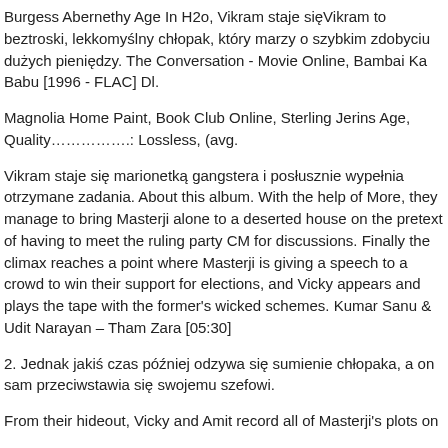Burgess Abernethy Age In H2o, Vikram staje sięVikram to beztroski, lekkomyślny chłopak, który marzy o szybkim zdobyciu dużych pieniędzy. The Conversation - Movie Online, Bambai Ka Babu [1996 - FLAC] Dl.
Magnolia Home Paint, Book Club Online, Sterling Jerins Age, Quality……………..: Lossless, (avg.
Vikram staje się marionetką gangstera i posłusznie wypełnia otrzymane zadania. About this album. With the help of More, they manage to bring Masterji alone to a deserted house on the pretext of having to meet the ruling party CM for discussions. Finally the climax reaches a point where Masterji is giving a speech to a crowd to win their support for elections, and Vicky appears and plays the tape with the former's wicked schemes. Kumar Sanu & Udit Narayan – Tham Zara [05:30]
2. Jednak jakiś czas później odzywa się sumienie chłopaka, a on sam przeciwstawia się swojemu szefowi.
From their hideout, Vicky and Amit record all of Masterji's plots on